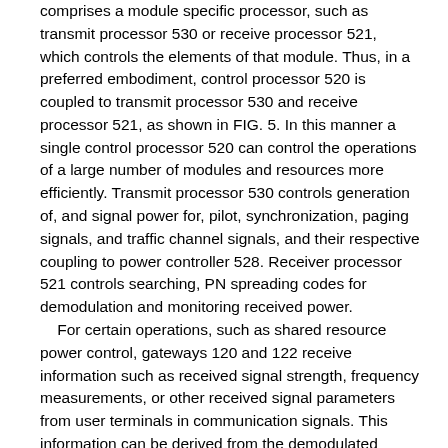comprises a module specific processor, such as transmit processor 530 or receive processor 521, which controls the elements of that module. Thus, in a preferred embodiment, control processor 520 is coupled to transmit processor 530 and receive processor 521, as shown in FIG. 5. In this manner a single control processor 520 can control the operations of a large number of modules and resources more efficiently. Transmit processor 530 controls generation of, and signal power for, pilot, synchronization, paging signals, and traffic channel signals, and their respective coupling to power controller 528. Receiver processor 521 controls searching, PN spreading codes for demodulation and monitoring received power. For certain operations, such as shared resource power control, gateways 120 and 122 receive information such as received signal strength, frequency measurements, or other received signal parameters from user terminals in communication signals. This information can be derived from the demodulated outputs of data receivers 516 by receive processors 521 or receive power measuring elements 523. Alternatively, this information can be detected as occurring at predefined locations in